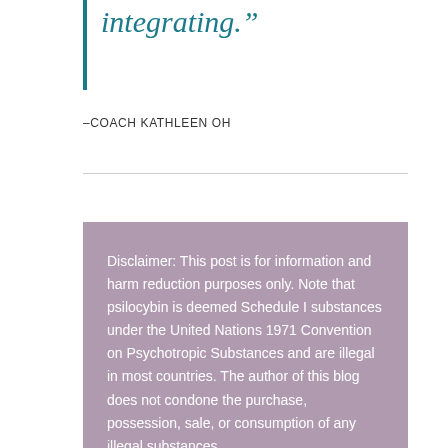integrating.”
–COACH KATHLEEN OH
Disclaimer: This post is for information and harm reduction purposes only. Note that psilocybin is deemed Schedule I substances under the United Nations 1971 Convention on Psychotropic Substances and are illegal in most countries. The author of this blog does not condone the purchase, possession, sale, or consumption of any illegal substances.